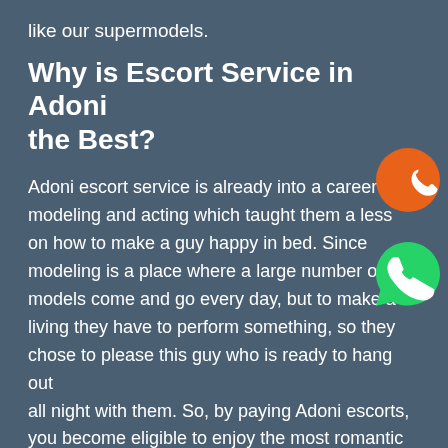like our supermodels.
Why is Escort Service in Adoni the Best?
Adoni escort service is already into a career in modeling and acting which taught them a less on how to make a guy happy in bed. Since modeling is a place where a large number of models come and go every day, but to make a living they have to perform something, so they chose to please this guy who is ready to hang out all night with them. So, by paying Adoni escorts, you become eligible to enjoy the most romantic time and hot love session with these beauties. In order to have a great experience with all these models, you need to conduct a live session which
[Figure (illustration): Orange circle with white phone handset icon]
[Figure (illustration): Green WhatsApp logo circle with white handset icon]